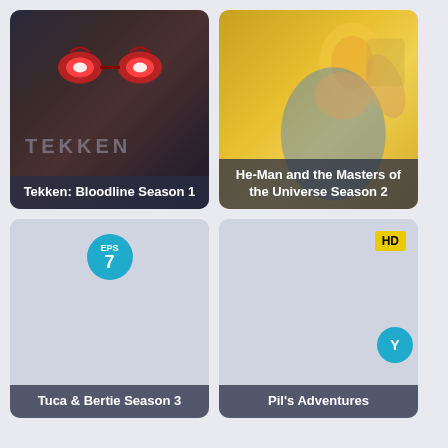[Figure (screenshot): Tekken: Bloodline Season 1 card with dark background featuring glowing red eyes]
Tekken: Bloodline Season 1
[Figure (screenshot): He-Man and the Masters of the Universe Season 2 card with yellow/gold background featuring He-Man character]
He-Man and the Masters of the Universe Season 2
[Figure (screenshot): Tuca & Bertie Season 3 card with light blue/grey background, EPS 7 badge]
Tuca & Bertie Season 3
[Figure (screenshot): Pil's Adventures card with light blue/grey background, HD badge]
Pil's Adventures